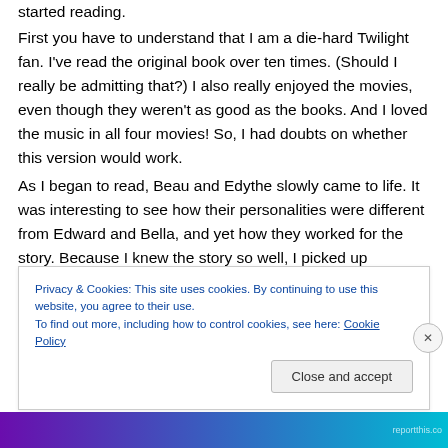started reading.
First you have to understand that I am a die-hard Twilight fan. I've read the original book over ten times. (Should I really be admitting that?) I also really enjoyed the movies, even though they weren't as good as the books. And I loved the music in all four movies! So, I had doubts on whether this version would work.
As I began to read, Beau and Edythe slowly came to life. It was interesting to see how their personalities were different from Edward and Bella, and yet how they worked for the story. Because I knew the story so well, I picked up
Privacy & Cookies: This site uses cookies. By continuing to use this website, you agree to their use.
To find out more, including how to control cookies, see here: Cookie Policy
Close and accept